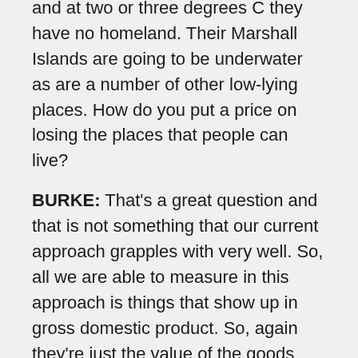and at two or three degrees C they have no homeland. Their Marshall Islands are going to be underwater as are a number of other low-lying places. How do you put a price on losing the places that people can live?
BURKE: That's a great question and that is not something that our current approach grapples with very well. So, all we are able to measure in this approach is things that show up in gross domestic product. So, again they're just the value of the goods and services that are produced in an economy in a year. So, we will not capture many of these other very important things – loss of homeland, loss of habitat, that we know to be very important, that we imagine will likely be fundamentally affected in the future, but things that do not show up in this measure of GDP. So, to the extent that we think those things are important and that they could be